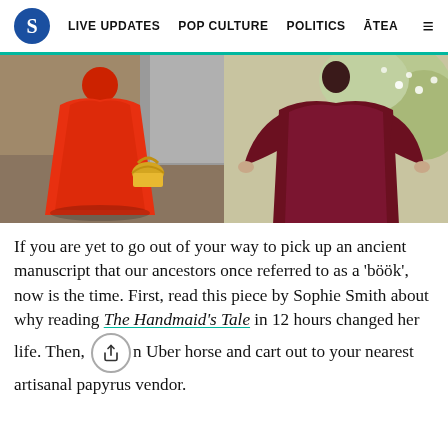S  LIVE UPDATES  POP CULTURE  POLITICS  ĀTEA
[Figure (photo): Two side-by-side photos: left shows a person in a bright red cloak/coat holding a yellow basket, standing on a path; right shows a person wearing a dark maroon/burgundy oversized garment standing near flowering bushes.]
If you are yet to go out of your way to pick up an ancient manuscript that our ancestors once referred to as a 'böök', now is the time. First, read this piece by Sophie Smith about why reading The Handmaid's Tale in 12 hours changed her life. Then, get on Uber horse and cart out to your nearest artisanal papyrus vendor.